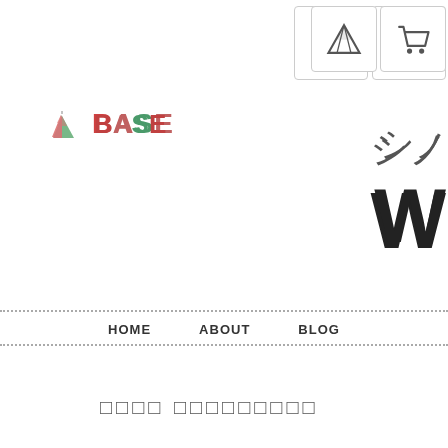[Figure (logo): Tent/teepee icon with two triangles (pink and green) forming a teepee shape]
[Figure (other): Icon button with teepee/tent symbol in dark gray]
[Figure (other): Icon button with shopping cart symbol in dark gray]
BASE
シノ
W
HOME   ABOUT   BLOG
□□□□ □□□□□□□□□